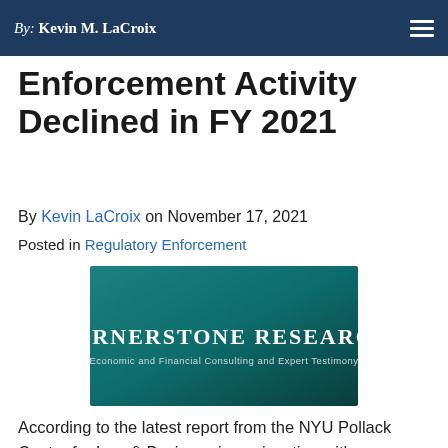By: Kevin M. LaCroix
Enforcement Activity Declined in FY 2021
By Kevin LaCroix on November 17, 2021
Posted in Regulatory Enforcement
[Figure (logo): Cornerstone Research logo — teal gradient background with white text: CORNERSTONE RESEARCH / Economic and Financial Consulting and Expert Testimony]
According to the latest report from the NYU Pollack Center for Law & Business in conjunction with